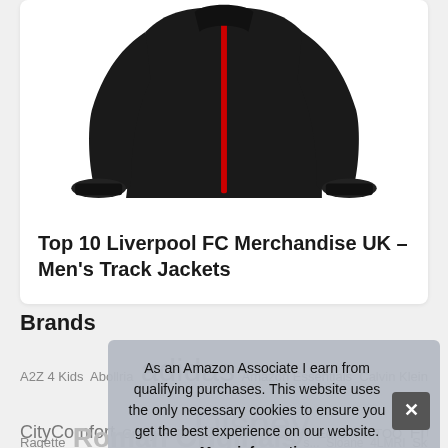[Figure (photo): Black men's track jacket with red zipper, displayed flat against white background]
Top 10 Liverpool FC Merchandise UK – Men's Track Jackets
Brands
A2Z 4 Kids Abollria adidas Amazon Essentials Calvin Klein CityComfort Crazy Girls Disney Eono FITTOO Fruit of the [Loom] Hi[ppoman] Laz[er] Wa[rner] Roman Originals [and more] Skechers
As an Amazon Associate I earn from qualifying purchases. This website uses the only necessary cookies to ensure you get the best experience on our website. More information